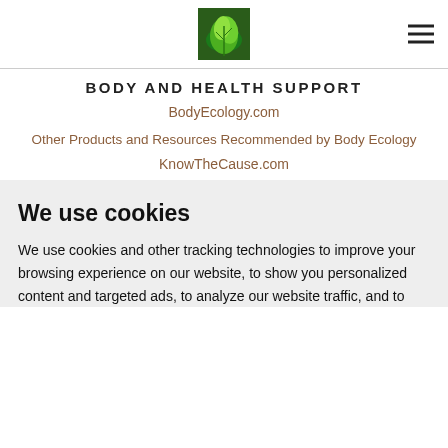BODY AND HEALTH SUPPORT
BodyEcology.com
Other Products and Resources Recommended by Body Ecology
KnowTheCause.com
We use cookies
We use cookies and other tracking technologies to improve your browsing experience on our website, to show you personalized content and targeted ads, to analyze our website traffic, and to